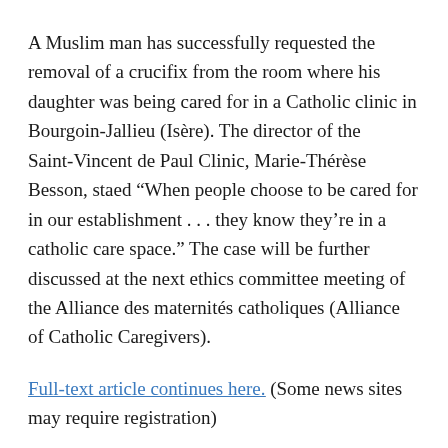A Muslim man has successfully requested the removal of a crucifix from the room where his daughter was being cared for in a Catholic clinic in Bourgoin-Jallieu (Isère). The director of the Saint-Vincent de Paul Clinic, Marie-Thérèse Besson, staed “When people choose to be cared for in our establishment . . . they know they’re in a catholic care space.” The case will be further discussed at the next ethics committee meeting of the Alliance des maternités catholiques (Alliance of Catholic Caregivers).
Full-text article continues here. (Some news sites may require registration)